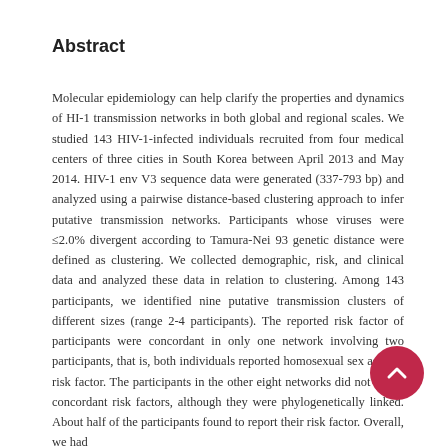Abstract
Molecular epidemiology can help clarify the properties and dynamics of HI-1 transmission networks in both global and regional scales. We studied 143 HIV-1-infected individuals recruited from four medical centers of three cities in South Korea between April 2013 and May 2014. HIV-1 env V3 sequence data were generated (337-793 bp) and analyzed using a pairwise distance-based clustering approach to infer putative transmission networks. Participants whose viruses were ≤2.0% divergent according to Tamura-Nei 93 genetic distance were defined as clustering. We collected demographic, risk, and clinical data and analyzed these data in relation to clustering. Among 143 participants, we identified nine putative transmission clusters of different sizes (range 2-4 participants). The reported risk factor of participants were concordant in only one network involving two participants, that is, both individuals reported homosexual sex as their risk factor. The participants in the other eight networks did not report concordant risk factors, although they were phylogenetically linked. About half of the participants found to report their risk factor. Overall, we had